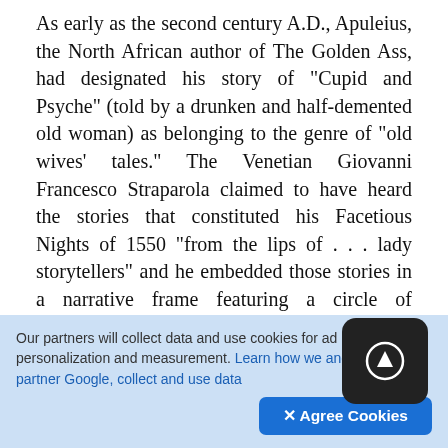As early as the second century A.D., Apuleius, the North African author of The Golden Ass, had designated his story of "Cupid and Psyche" (told by a drunken and half-demented old woman) as belonging to the genre of "old wives' tales." The Venetian Giovanni Francesco Straparola claimed to have heard the stories that constituted his Facetious Nights of 1550 "from the lips of . . . lady storytellers" and he embedded those stories in a narrative frame featuring a circle of garrulous female narrators. Giambattista Basile's seventeenth-century collection of Neapolitan tales, Pentamerone, also has women storytellers—witted, gossipy old crones who recount "those tales that old women tell to amuse children." The
Our partners will collect data and use cookies for ad personalization and measurement. Learn how we and our ad partner Google, collect and use data
✕ Agree Cookies